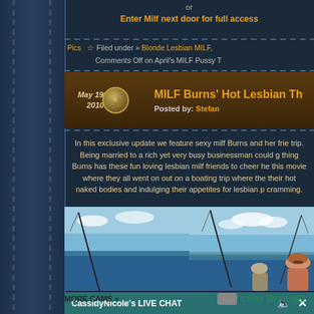or
Enter Milf next door for full access
Filed under » Blonde Lesbian MILF,
Pics ☆ Comments Off on April's MILF Pussy T
MILF Burns' Hot Lesbian Th
Posted by: Stefan
May 19th, 2010
In this exclusive update we feature sexy milf Burns and her frie trip. Being married to a rich yet very busy businessman could g thing Burns has these fun loving lesbian milf friends to cheer he this movie where they all went on out on a boating trip where the their hot naked bodies and indulging their appetites for lesbian p cramming.
[Figure (photo): Women on a boat trip with fishing rods, blue sky and water in background]
CassidyNicole's LIVE CHAT
MORE CAMS »
CHAT WITH ME!